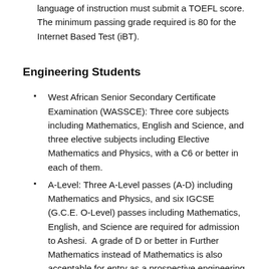language of instruction must submit a TOEFL score. The minimum passing grade required is 80 for the Internet Based Test (iBT).
Engineering Students
West African Senior Secondary Certificate Examination (WASSCE): Three core subjects including Mathematics, English and Science, and three elective subjects including Elective Mathematics and Physics, with a C6 or better in each of them.
A-Level: Three A-Level passes (A-D) including Mathematics and Physics, and six IGCSE (G.C.E. O-Level) passes including Mathematics, English, and Science are required for admission to Ashesi.  A grade of D or better in Further Mathematics instead of Mathematics is also acceptable for entry as a prospective engineering major.
International Baccalaureate (IB) Diploma: For prospective engineering students, Mathematics SL with a 5 or better,